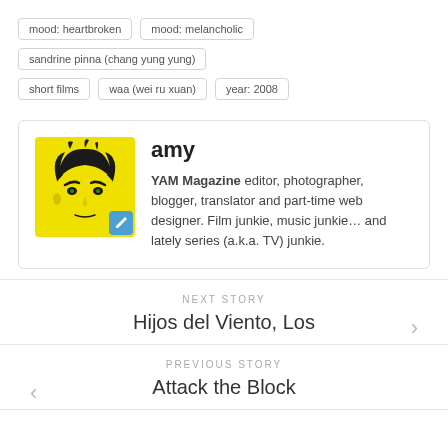mood: heartbroken
mood: melancholic
sandrine pinna (chang yung yung)
short films
waa (wei ru xuan)
year: 2008
[Figure (illustration): Yellow stylized portrait avatar of a person with dark hair]
amy
YAM Magazine editor, photographer, blogger, translator and part-time web designer. Film junkie, music junkie... and lately series (a.k.a. TV) junkie.
NEXT STORY
Hijos del Viento, Los
PREVIOUS STORY
Attack the Block